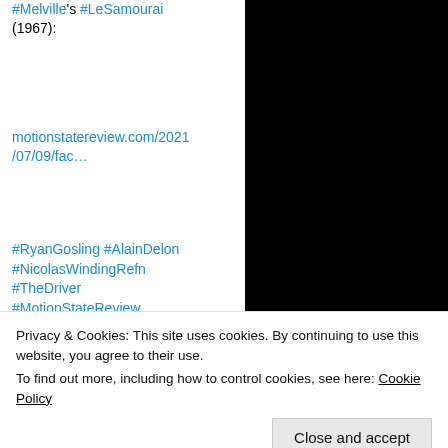#Melville's #LeSamourai (1967):
motionstatereview.com/2021/07/09/fac…
#RyanGosling #AlainDelon #NicolasWindingRefn #TheDriver #MotionStateReview
[Figure (photo): Two side-by-side stills: left shows a man in a trenchcoat and hat (Alain Delon in Le Samourai), right shows a man in a light jacket (Ryan Gosling in Drive)]
Privacy & Cookies: This site uses cookies. By continuing to use this website, you agree to their use. To find out more, including how to control cookies, see here: Cookie Policy
Close and accept
· Jun 1, 2021